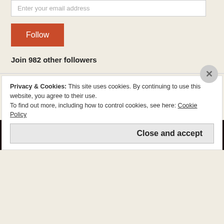Enter your email address
Follow
Join 982 other followers
Follow me on Twitter
My Tweets
Privacy & Cookies: This site uses cookies. By continuing to use this website, you agree to their use.
To find out more, including how to control cookies, see here: Cookie Policy
Close and accept